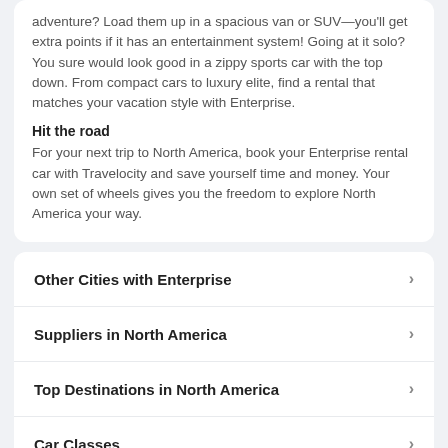adventure? Load them up in a spacious van or SUV—you'll get extra points if it has an entertainment system! Going at it solo? You sure would look good in a zippy sports car with the top down. From compact cars to luxury elite, find a rental that matches your vacation style with Enterprise.
Hit the road
For your next trip to North America, book your Enterprise rental car with Travelocity and save yourself time and money. Your own set of wheels gives you the freedom to explore North America your way.
Other Cities with Enterprise
Suppliers in North America
Top Destinations in North America
Car Classes